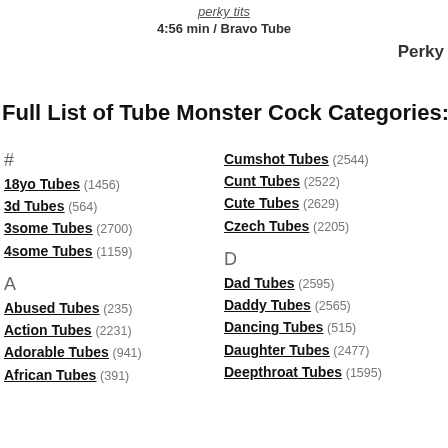perky tits
4:56 min / Bravo Tube
Perky
Full List of Tube Monster Cock Categories:
#
18yo Tubes (1456)
3d Tubes (564)
3some Tubes (2700)
4some Tubes (1159)
A
Abused Tubes (235)
Action Tubes (2231)
Adorable Tubes (941)
African Tubes (391)
Cumshot Tubes (2544)
Cunt Tubes (2522)
Cute Tubes (2629)
Czech Tubes (2205)
D
Dad Tubes (2595)
Daddy Tubes (2565)
Dancing Tubes (515)
Daughter Tubes (2477)
Deepthroat Tubes (1595)